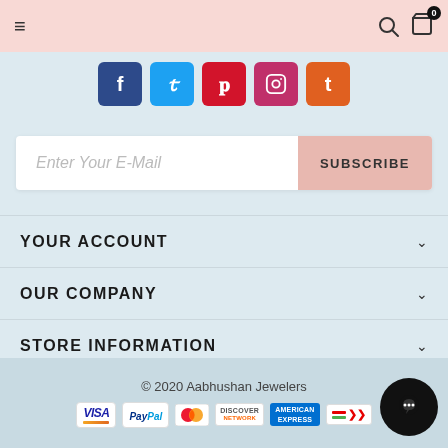Navigation bar with hamburger menu, search icon, and cart icon
[Figure (infographic): Social media buttons row: Facebook, Twitter, Pinterest, Instagram, Tumblr]
Enter Your E-Mail
SUBSCRIBE
YOUR ACCOUNT
OUR COMPANY
STORE INFORMATION
[Figure (photo): Gold ring with decorative crown-like setting displayed on light blue background]
© 2020 Aabhushan Jewelers
[Figure (infographic): Payment method icons: Visa, PayPal, MasterCard, Discover, American Express, and another card]